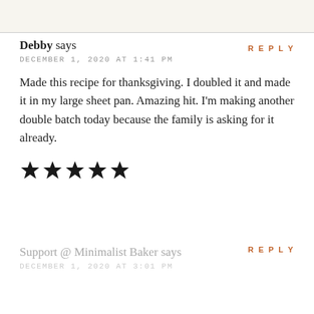REPLY
Debby says
DECEMBER 1, 2020 AT 1:41 PM
Made this recipe for thanksgiving. I doubled it and made it in my large sheet pan. Amazing hit. I'm making another double batch today because the family is asking for it already.
[Figure (other): Five black star rating icons]
REPLY
Support @ Minimalist Baker says
DECEMBER 1, 2020 AT 3:01 PM